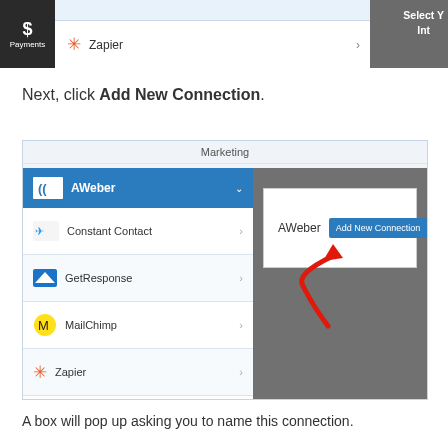[Figure (screenshot): Top portion of a software UI showing Payments section with Zapier integration row and a partially visible 'Select Your Integration' panel on the right.]
Next, click Add New Connection.
[Figure (screenshot): Software UI screenshot showing Marketing integrations panel with AWeber selected (highlighted in blue), list of services (Constant Contact, GetResponse, MailChimp, Zapier), and a right-side dark panel showing a white popup with 'AWeber' label and 'Add New Connection' blue button, with a red arrow pointing to the button.]
A box will pop up asking you to name this connection.